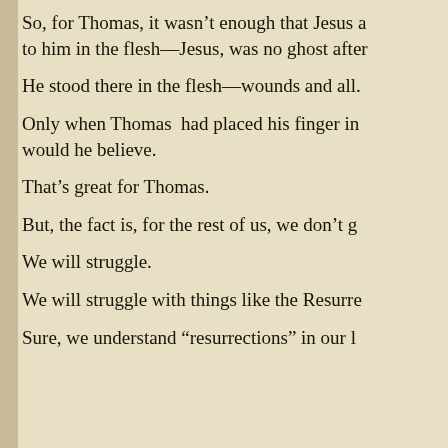So, for Thomas, it wasn't enough that Jesus a to him in the flesh—Jesus, was no ghost after
He stood there in the flesh—wounds and all.
Only when Thomas had placed his finger in would he believe.
That's great for Thomas.
But, the fact is, for the rest of us, we don't g
We will struggle.
We will struggle with things like the Resurre
Sure, we understand “resurrections” in our l